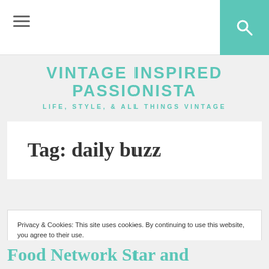Vintage Inspired Passionista — Life, Style, & All Things Vintage
Tag: daily buzz
Privacy & Cookies: This site uses cookies. By continuing to use this website, you agree to their use. To find out more, including how to control cookies, see here: Cookie Policy
Food Network Star and